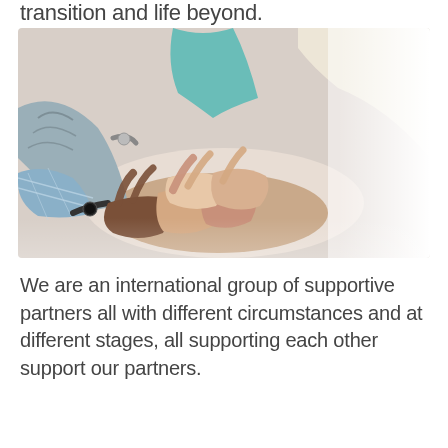transition and life beyond.
[Figure (photo): Multiple diverse hands stacked together in the center, viewed from above, symbolizing teamwork and unity. The right side of the image fades to white.]
We are an international group of supportive partners all with different circumstances and at different stages, all supporting each other support our partners.